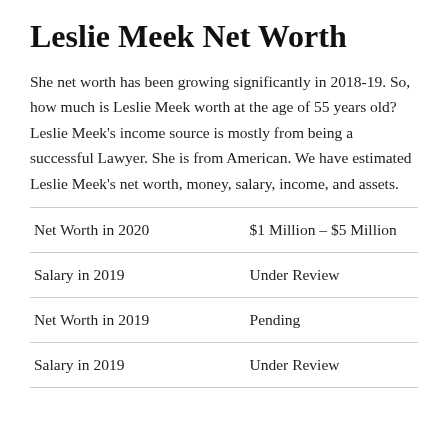Leslie Meek Net Worth
She net worth has been growing significantly in 2018-19. So, how much is Leslie Meek worth at the age of 55 years old? Leslie Meek's income source is mostly from being a successful Lawyer. She is from American. We have estimated Leslie Meek's net worth, money, salary, income, and assets.
| Net Worth in 2020 | $1 Million – $5 Million |
| Salary in 2019 | Under Review |
| Net Worth in 2019 | Pending |
| Salary in 2019 | Under Review |